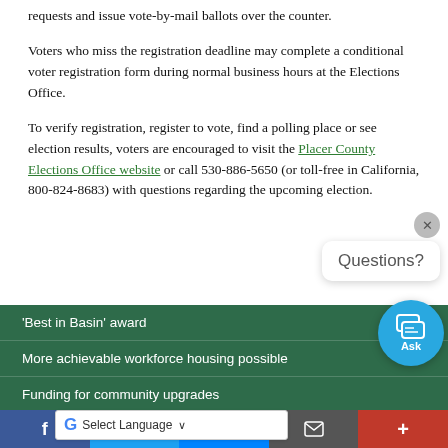requests and issue vote-by-mail ballots over the counter.
Voters who miss the registration deadline may complete a conditional voter registration form during normal business hours at the Elections Office.
To verify registration, register to vote, find a polling place or see election results, voters are encouraged to visit the Placer County Elections Office website or call 530-886-5650 (or toll-free in California, 800-824-8683) with questions regarding the upcoming election.
'Best in Basin' award
More achievable workforce housing possible
Funding for community upgrades